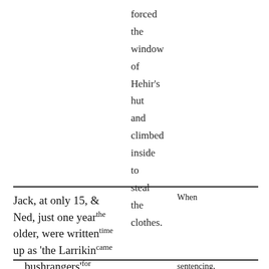forced the window of Hehir's hut and climbed inside to steal the clothes.
Jack, at only 15, & Ned, just one year older, were written up as 'the Larrikin bushrangers'
When the time came for sentencing, Judge